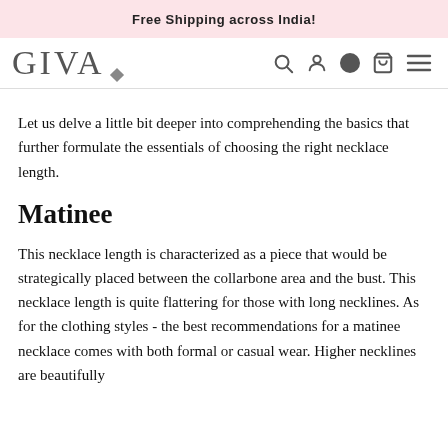Free Shipping across India!
[Figure (logo): GIVA logo with diamond symbol and navigation icons (search, user, dot, bag, hamburger menu)]
Let us delve a little bit deeper into comprehending the basics that further formulate the essentials of choosing the right necklace length.
Matinee
This necklace length is characterized as a piece that would be strategically placed between the collarbone area and the bust. This necklace length is quite flattering for those with long necklines. As for the clothing styles - the best recommendations for a matinee necklace comes with both formal or casual wear. Higher necklines are beautifully